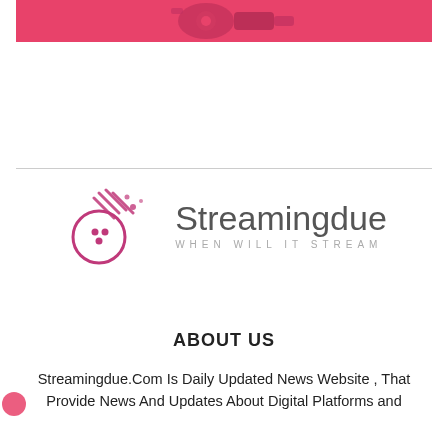[Figure (illustration): Pink/magenta banner with partial graphic elements visible at top of page]
[Figure (logo): Streamingdue logo: a bowling ball comet with speed lines in magenta/pink, with the text 'Streamingdue' in large grey font and 'WHEN WILL IT STREAM' in small spaced grey letters beneath]
ABOUT US
Streamingdue.Com Is Daily Updated News Website , That Provide News And Updates About Digital Platforms and